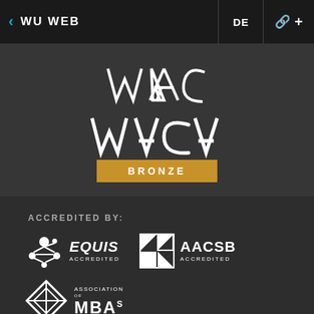WU WEB | DE
[Figure (logo): WACA BRONZE award logo — white angular WACA lettering above a gold/bronze rectangle with white bold text BRONZE]
ACCREDITED BY:
[Figure (logo): EQUIS Accredited logo — white network/molecule icon with italic bold EQUIS text and ACCREDITED below]
[Figure (logo): AACSB Accredited logo — white square geometric icon with AACSB bold text and ACCREDITED below]
[Figure (logo): Association of MBAs logo — diamond geometric icon with ASSOCIATION OF MBAS text]